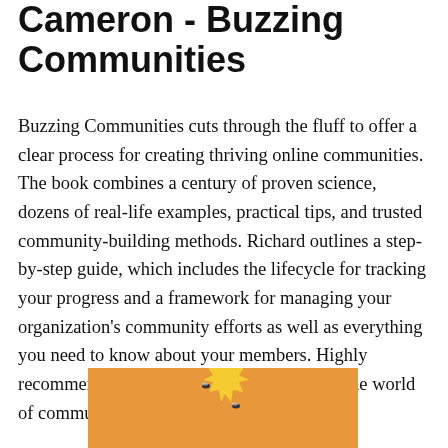Cameron - Buzzing Communities
Buzzing Communities cuts through the fluff to offer a clear process for creating thriving online communities. The book combines a century of proven science, dozens of real-life examples, practical tips, and trusted community-building methods. Richard outlines a step-by-step guide, which includes the lifecycle for tracking your progress and a framework for managing your organization's community efforts as well as everything you need to know about your members. Highly recommend checking it out if you're new to the world of community management.
[Figure (illustration): Book cover of Buzzing Communities showing a sun-like yellow starburst shape on an orange background with small bee illustrations]